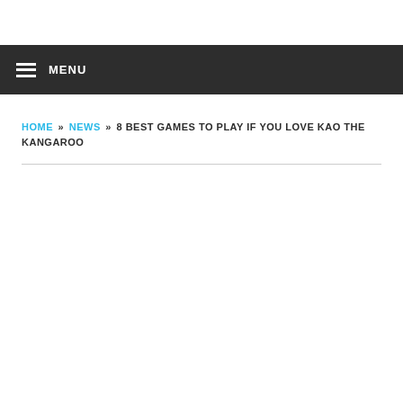MENU
HOME » NEWS » 8 BEST GAMES TO PLAY IF YOU LOVE KAO THE KANGAROO